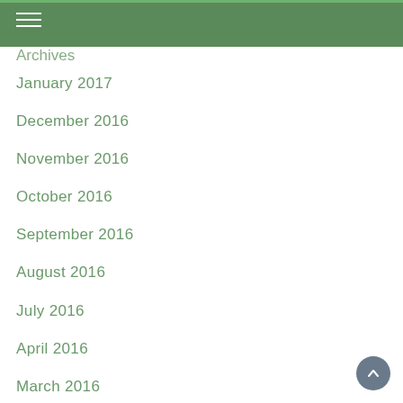January 2017
December 2016
November 2016
October 2016
September 2016
August 2016
July 2016
April 2016
March 2016
February 2016